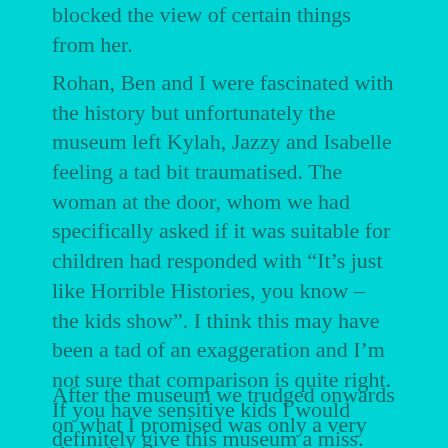blocked the view of certain things from her.
Rohan, Ben and I were fascinated with the history but unfortunately the museum left Kylah, Jazzy and Isabelle feeling a tad bit traumatised.  The woman at the door, whom we had specifically asked if it was suitable for children had responded with “It’s just like Horrible Histories, you know – the kids show”.  I think this may have been a tad of an exaggeration and I’m not sure that comparison is quite right.  If you have sensitive kids I would definitely give this museum a miss.
After the museum we trudged onwards on what I promised was only a very short distance